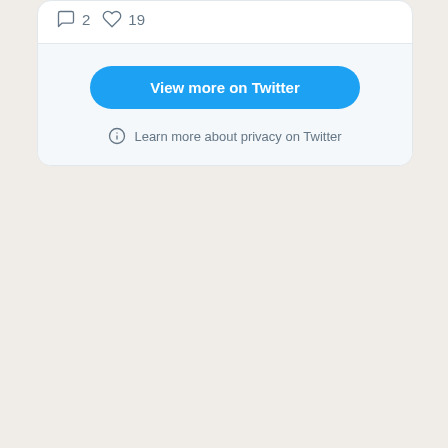[Figure (screenshot): Twitter embedded timeline widget showing bottom of tweet list with reply count 2 and like count 19, a 'View more on Twitter' blue button, and a 'Learn more about privacy on Twitter' info link]
2  19
View more on Twitter
Learn more about privacy on Twitter